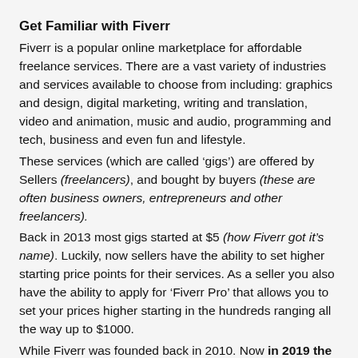Get Familiar with Fiverr
Fiverr is a popular online marketplace for affordable freelance services. There are a vast variety of industries and services available to choose from including: graphics and design, digital marketing, writing and translation, video and animation, music and audio, programming and tech, business and even fun and lifestyle.
These services (which are called ‘gigs’) are offered by Sellers (freelancers), and bought by buyers (these are often business owners, entrepreneurs and other freelancers).
Back in 2013 most gigs started at $5 (how Fiverr got it’s name). Luckily, now sellers have the ability to set higher starting price points for their services. As a seller you also have the ability to apply for ‘Fiverr Pro’ that allows you to set your prices higher starting in the hundreds ranging all the way up to $1000.
While Fiverr was founded back in 2010. Now in 2019 the site has grown to over 34 MILLION visitors EVERY MONTH! So you can see why Fiverr is still a very popular choice for new